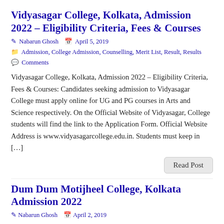Vidyasagar College, Kolkata, Admission 2022 – Eligibility Criteria, Fees & Courses
Nabarun Ghosh   April 5, 2019
Admission, College Admission, Counselling, Merit List, Result, Results
Comments
Vidyasagar College, Kolkata, Admission 2022 – Eligibility Criteria, Fees & Courses: Candidates seeking admission to Vidyasagar College must apply online for UG and PG courses in Arts and Science respectively. On the Official Website of Vidyasagar, College students will find the link to the Application Form. Official Website Address is www.vidyasagarcollege.edu.in. Students must keep in […]
Read Post
Dum Dum Motijheel College, Kolkata Admission 2022
Nabarun Ghosh   April 2, 2019